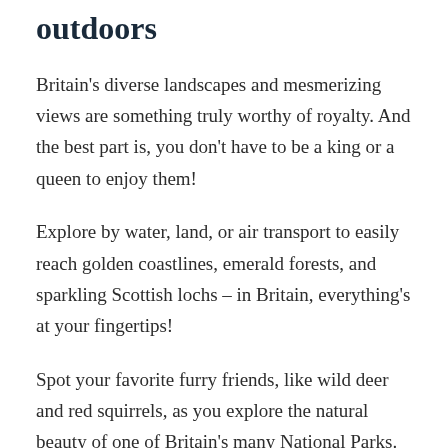outdoors
Britain's diverse landscapes and mesmerizing views are something truly worthy of royalty. And the best part is, you don't have to be a king or a queen to enjoy them!
Explore by water, land, or air transport to easily reach golden coastlines, emerald forests, and sparkling Scottish lochs – in Britain, everything's at your fingertips!
Spot your favorite furry friends, like wild deer and red squirrels, as you explore the natural beauty of one of Britain's many National Parks. Discover the lush green, idyllic setting near the old stone bridge on the River Conwy, Wales.